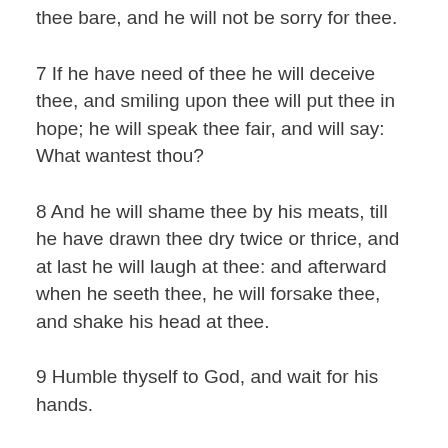thee bare, and he will not be sorry for thee.
7 If he have need of thee he will deceive thee, and smiling upon thee will put thee in hope; he will speak thee fair, and will say: What wantest thou?
8 And he will shame thee by his meats, till he have drawn thee dry twice or thrice, and at last he will laugh at thee: and afterward when he seeth thee, he will forsake thee, and shake his head at thee.
9 Humble thyself to God, and wait for his hands.
10 Beware that thou be not deceived Into folly, and be humbled.
11 Be not lowly in thy wisdom, lest being humbled thou be